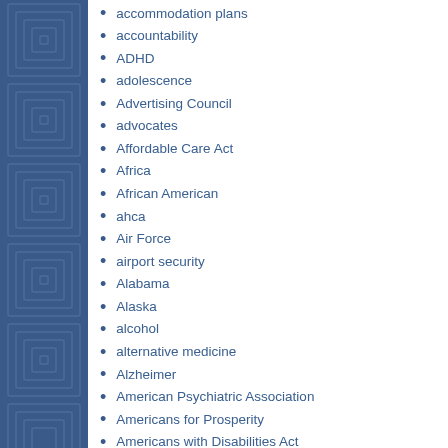accommodation plans
accountability
ADHD
adolescence
Advertising Council
advocates
Affordable Care Act
Africa
African American
ahca
Air Force
airport security
Alabama
Alaska
alcohol
alternative medicine
Alzheimer
American Psychiatric Association
Americans for Prosperity
Americans with Disabilities Act
Andrew Yang
animals